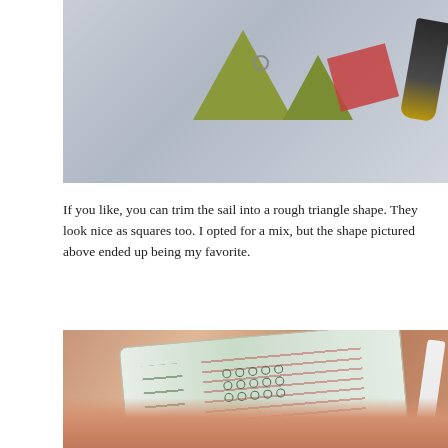[Figure (photo): Photo of decorative paper cut into shapes (triangles/squares) resembling sails or flags, with scissors visible and a small ring, against a light blue-gray background.]
If you like, you can trim the sail into a rough triangle shape. They look nice as squares too. I opted for a mix, but the shape pictured above ended up being my favorite.
[Figure (photo): Close-up photo of a hand wrapping washi tape (decorated with Christmas tree/house pattern and small circles) around a white cylindrical pen or marker.]